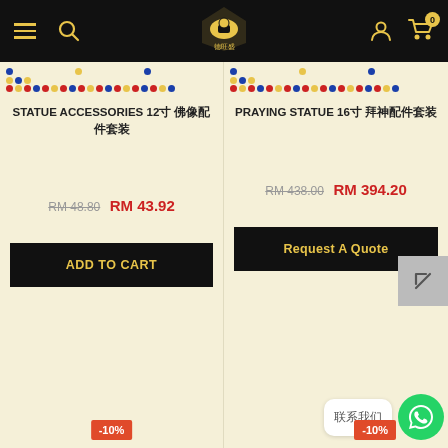[Figure (screenshot): E-commerce website navigation bar with hamburger menu, search icon, logo, user icon, and cart icon showing 0 items]
[Figure (illustration): Decorative dotted pattern rows in blue, yellow, and red for left product column]
STATUE ACCESSORIES 12寸 佛像配件套装
RM 48.80  RM 43.92
[Figure (illustration): Decorative dotted pattern rows in blue, yellow, and red for right product column]
PRAYING STATUE 16寸 拜神配件套装
RM 438.00  RM 394.20
ADD TO CART
Request A Quote
-10%
-10%
联系我们
[Figure (logo): WhatsApp green circular button with phone icon]